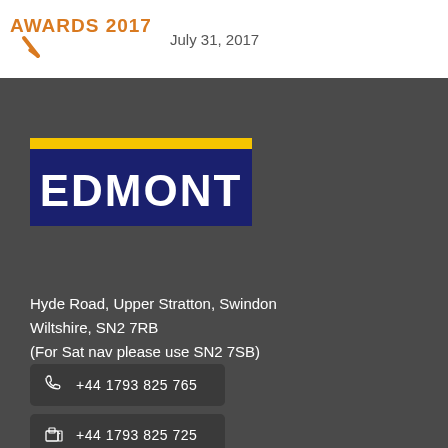AWARDS 2017 | July 31, 2017
[Figure (logo): Edmont company logo with dark blue background and yellow top bar with downward arrow notch, text EDMONT in white bold letters]
Hyde Road, Upper Stratton, Swindon
Wiltshire, SN2 7RB
(For Sat nav please use SN2 7SB)
+44 1793 825 765
+44 1793 825 725